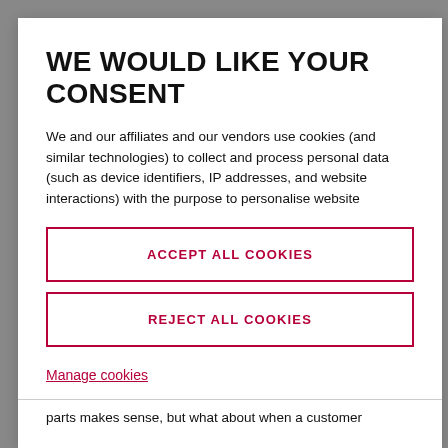WE WOULD LIKE YOUR CONSENT
We and our affiliates and our vendors use cookies (and similar technologies) to collect and process personal data (such as device identifiers, IP addresses, and website interactions) with the purpose to personalise website
ACCEPT ALL COOKIES
REJECT ALL COOKIES
Manage cookies
parts makes sense, but what about when a customer